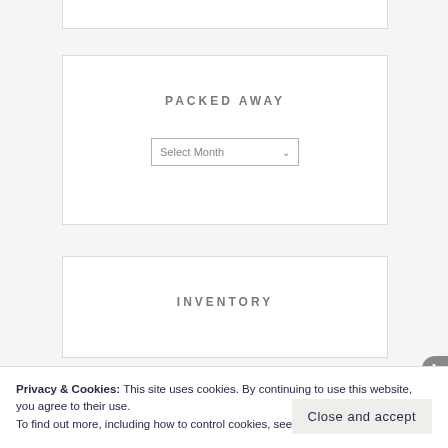PACKED AWAY
[Figure (screenshot): A dropdown select input labeled 'Select Month' with a chevron arrow on the right]
INVENTORY
Privacy & Cookies: This site uses cookies. By continuing to use this website, you agree to their use.
To find out more, including how to control cookies, see here: Cookie Policy
Close and accept